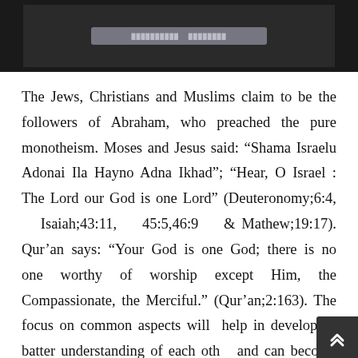[Figure (photo): Dark background image at top of page with a semi-transparent banner/overlay containing illegible text]
The Jews, Christians and Muslims claim to be the followers of Abraham, who preached the pure monotheism. Moses and Jesus said: “Shama Israelu Adonai Ila Hayno Adna Ikhad”; “Hear, O Israel : The Lord our God is one Lord” (Deuteronomy;6:4, Isaiah;43:11, 45:5,46:9 & Mathew;19:17). Qur’an says: “Your God is one God; there is no one worthy of worship except Him, the Compassionate, the Merciful.” (Qur’an;2:163). The focus on common aspects will help in developing batter understanding of each other and can become basis for dialogue. The faith in